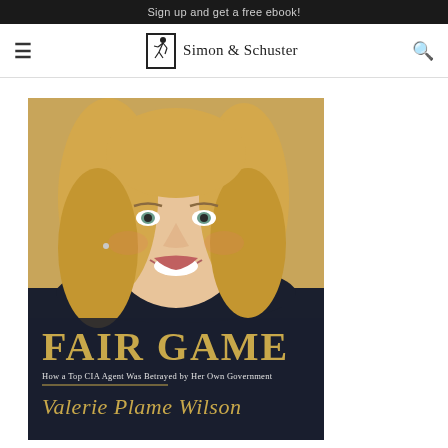Sign up and get a free ebook!
[Figure (logo): Simon & Schuster logo with running figure icon and text 'Simon & Schuster']
[Figure (photo): Book cover: 'FAIR GAME: How a Top CIA Agent Was Betrayed by Her Own Government' by Valerie Plame Wilson. Features a photo of a blonde woman (Valerie Plame Wilson) smiling, wearing a dark top, against a warm background. Title in large gold serif letters, subtitle in smaller text, author name in gold script.]